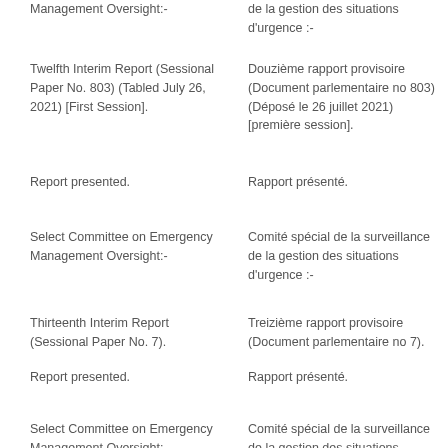Management Oversight:-
de la gestion des situations d'urgence :-
Twelfth Interim Report (Sessional Paper No. 803) (Tabled July 26, 2021) [First Session].
Douzième rapport provisoire (Document parlementaire no 803) (Déposé le 26 juillet 2021) [première session].
Report presented.
Rapport présenté.
Select Committee on Emergency Management Oversight:-
Comité spécial de la surveillance de la gestion des situations d'urgence :-
Thirteenth Interim Report (Sessional Paper No. 7).
Treizième rapport provisoire (Document parlementaire no 7).
Report presented.
Rapport présenté.
Select Committee on Emergency Management Oversight:-
Comité spécial de la surveillance de la gestion des situations